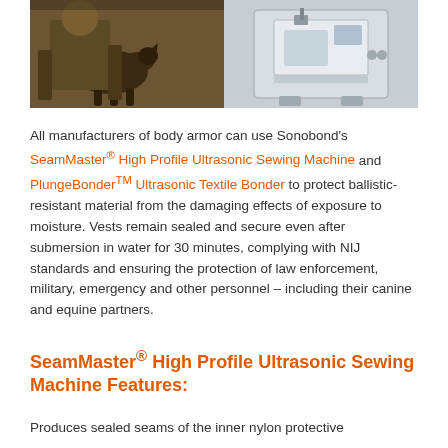[Figure (photo): Two side-by-side photos: left shows a military/police handler with a German Shepherd dog in combat gear; right shows an ultrasonic sewing machine (medical/industrial equipment).]
All manufacturers of body armor can use Sonobond's SeamMaster® High Profile Ultrasonic Sewing Machine and PlungeBonder™ Ultrasonic Textile Bonder to protect ballistic-resistant material from the damaging effects of exposure to moisture. Vests remain sealed and secure even after submersion in water for 30 minutes, complying with NIJ standards and ensuring the protection of law enforcement, military, emergency and other personnel – including their canine and equine partners.
SeamMaster® High Profile Ultrasonic Sewing Machine Features:
Produces sealed seams of the inner nylon protective